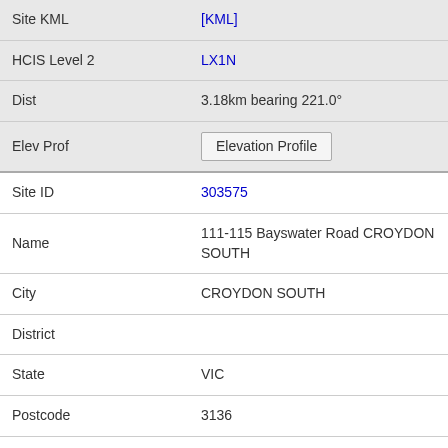| Field | Value |
| --- | --- |
| Site KML | [KML] |
| HCIS Level 2 | LX1N |
| Dist | 3.18km bearing 221.0° |
| Elev Prof | Elevation Profile |
| Site ID | 303575 |
| Name | 111-115 Bayswater Road CROYDON SOUTH |
| City | CROYDON SOUTH |
| District |  |
| State | VIC |
| Postcode | 3136 |
| Assgnmts | 36 |
| Site KML | [KML] |
| HCIS Level 2 | LX1N |
| Dist | 3.22km bearing 279.3° |
| Elev Prof | Elevation Profile |
| Site ID | 10017214 |